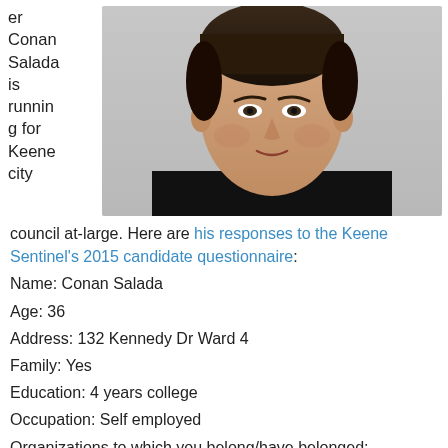er Conan Salada is running for Keene city council at-large. Here are his responses to the Keene Sentinel's 2015 candidate questionnaire:
[Figure (photo): Headshot of Conan Salada, a man in a black shirt against a light background.]
Name: Conan Salada
Age: 36
Address: 132 Kennedy Dr Ward 4
Family: Yes
Education: 4 years college
Occupation: Self employed
Organizations to which you belong/have belonged: Keene Liberty Alliance
Previous elected office: None